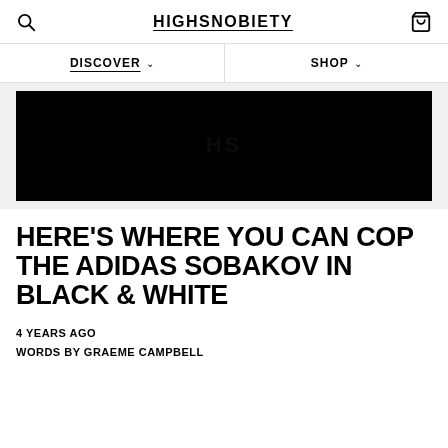HIGHSNOBIETY
DISCOVER
SHOP
[Figure (photo): Black hero image with faint HS watermark logo in the center]
HERE’S WHERE YOU CAN COP THE ADIDAS SOBAKOV IN BLACK & WHITE
4 YEARS AGO
WORDS BY GRAEME CAMPBELL